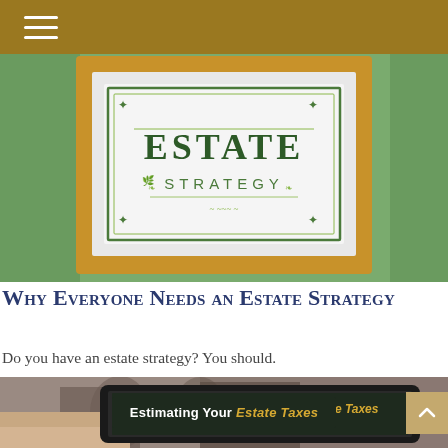[Figure (illustration): A framed sign on a green wall reading 'ESTATE STRATEGY' with decorative leaf motifs, in a gold and white frame]
Why Everyone Needs an Estate Strategy
Do you have an estate strategy? You should.
[Figure (photo): A hand holding a tablet device displaying text 'Estimating Your Estate Taxes' with a blurred building background]